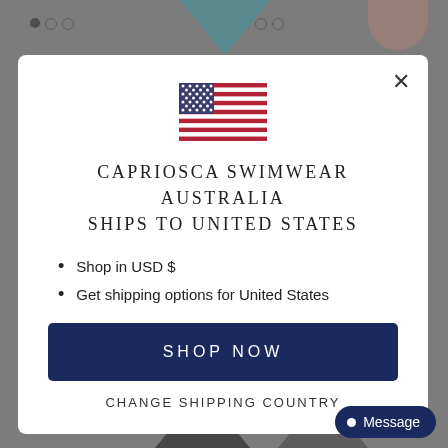[Figure (screenshot): Website popup modal for Capriosca Swimwear Australia showing US flag, shipping information, and shop now button over a grayed-out swimwear website background]
CAPRIOSCA SWIMWEAR AUSTRALIA SHIPS TO UNITED STATES
Shop in USD $
Get shipping options for United States
SHOP NOW
CHANGE SHIPPING COUNTRY
Message